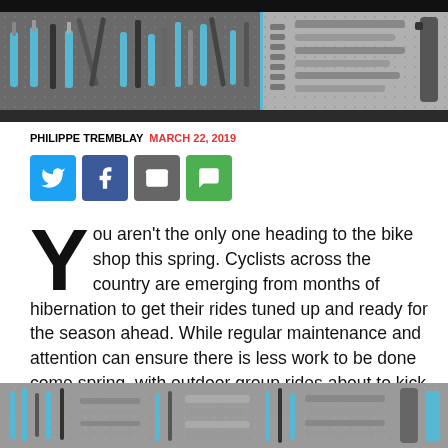[Figure (photo): Top banner photo of bicycle tools and wrenches laid out on a pegboard surface, split into two panels with a blue divider]
PHILIPPE TREMBLAY MARCH 22, 2019
[Figure (infographic): Social sharing buttons: Twitter (blue), Facebook (dark blue), Email (grey), SMS (green)]
You aren't the only one heading to the bike shop this spring. Cyclists across the country are emerging from months of hibernation to get their rides tuned up and ready for the season ahead. While regular maintenance and attention can ensure there is less work to be done come spring, with outdoor group rides about to kick into full gear you want to make sure your bicycle is ready to go. So here are the essential do's and don'ts of brining your bicycle into the shop this spring:
[Figure (photo): Bottom banner photo of bicycle tools and wrenches on a pegboard, same style as top photo]